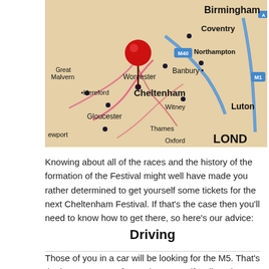[Figure (map): A close-up photograph of a road map of central England showing cities including Birmingham, Coventry, Northampton, Worcester, Banbury, Cheltenham, Hereford, Great Malvern, Gloucester, Witney, Thames, Oxford, Luton, and London (LOND). A red map pin is placed on Cheltenham. Roads including M40 and M1 are visible in blue.]
Knowing about all of the races and the history of the formation of the Festival might well have made you rather determined to get yourself some tickets for the next Cheltenham Festival. If that's the case then you'll need to know how to get there, so here's our advice:
Driving
Those of you in a car will be looking for the M5. That's the best motorway for getting yourself well on the way to